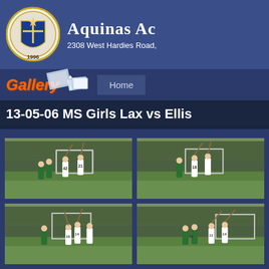Aquinas Ac — 2308 West Hardies Road,
Gallery — Home
13-05-06 MS Girls Lax vs Ellis
[Figure (photo): Girls lacrosse game photo 1: players near goal on grass field]
[Figure (photo): Girls lacrosse game photo 2: players near goal on grass field]
[Figure (photo): Girls lacrosse game photo 3: players near goal on grass field]
[Figure (photo): Girls lacrosse game photo 4: players near goal on grass field]